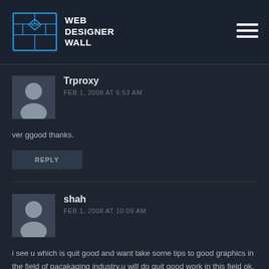WEB DESIGNER WALL
Trproxy
FEB 1, 2008 AT 6:53 AM
ver ggood thanks.
REPLY
shah
FEB 1, 2008 AT 10:09 AM
i see u which is quit good and want take some tips to good graphics in the field of pacakaging industry.u will do quit good work in this field ok.
REPLY